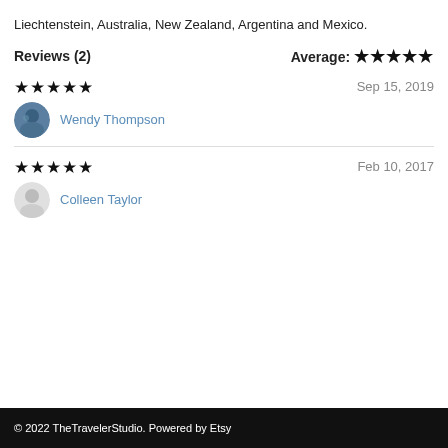Liechtenstein, Australia, New Zealand, Argentina and Mexico.
Reviews (2)   Average: ★★★★★
★★★★★   Sep 15, 2019
Wendy Thompson
★★★★★   Feb 10, 2017
Colleen Taylor
© 2022 TheTravelerStudio. Powered by Etsy